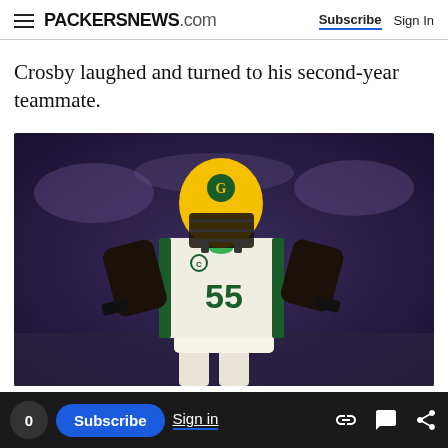PACKERSNEWS.com | Subscribe | Sign In
Crosby laughed and turned to his second-year teammate.
[Figure (photo): Green Bay Packers player wearing #55 white jersey and yellow helmet with G logo on it, standing on the football field during a game. The player has a captain's C patch on his jersey.]